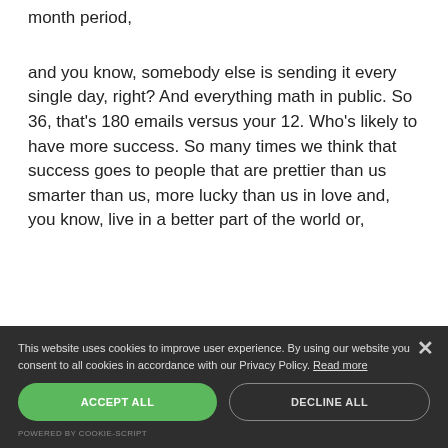month period,
and you know, somebody else is sending it every single day, right? And everything math in public. So 36, that's 180 emails versus your 12. Who's likely to have more success. So many times we think that success goes to people that are prettier than us smarter than us, more lucky than us in love and, you know, live in a better part of the world or,
This website uses cookies to improve user experience. By using our website you consent to all cookies in accordance with our Privacy Policy. Read more
ACCEPT ALL
DECLINE ALL
POWERED BY COOKIE-SCRIPT